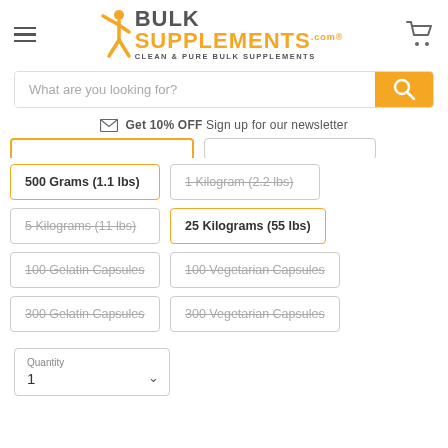[Figure (logo): BulkSupplements.com logo with orange figure, bold text BULK SUPPLEMENTS.com, tagline CLEAN & PURE BULK SUPPLEMENTS]
[Figure (other): Search bar with placeholder 'What are you looking for?' and orange search button with magnifying glass icon]
Get 10% OFF Sign up for our newsletter
500 Grams (1.1 lbs)
1 Kilogram (2.2 lbs) [strikethrough]
5 Kilograms (11 lbs) [strikethrough]
25 Kilograms (55 lbs)
100 Gelatin Capsules [strikethrough]
100 Vegetarian Capsules [strikethrough]
300 Gelatin Capsules [strikethrough]
300 Vegetarian Capsules [strikethrough]
Quantity 1